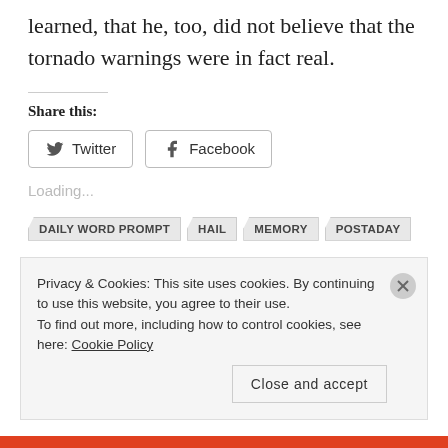learned, that he, too, did not believe that the tornado warnings were in fact real.
Share this:
[Figure (other): Twitter and Facebook share buttons]
Loading...
DAILY WORD PROMPT
HAIL
MEMORY
POSTADAY
Privacy & Cookies: This site uses cookies. By continuing to use this website, you agree to their use. To find out more, including how to control cookies, see here: Cookie Policy
Close and accept